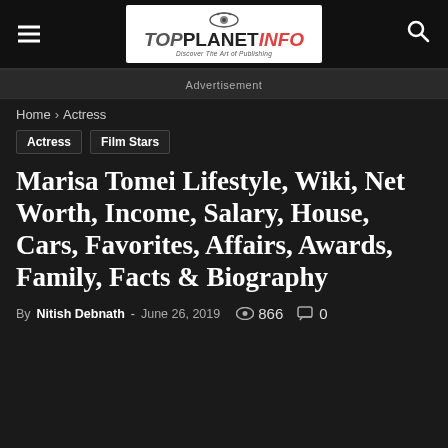TopPlanetInfo — Discover The Art of Publishing
Advertisement
Home › Actress
Actress
Film Stars
Marisa Tomei Lifestyle, Wiki, Net Worth, Income, Salary, House, Cars, Favorites, Affairs, Awards, Family, Facts & Biography
By Nitish Debnath - June 26, 2019  866  0